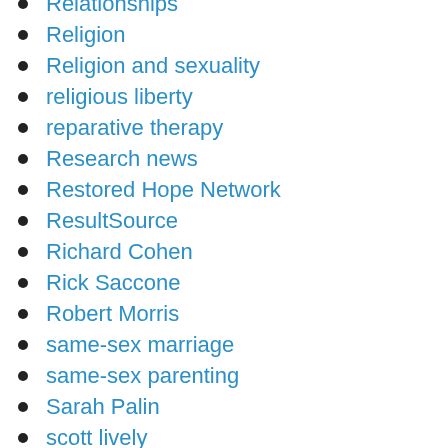Relationships
Religion
Religion and sexuality
religious liberty
reparative therapy
Research news
Restored Hope Network
ResultSource
Richard Cohen
Rick Saccone
Robert Morris
same-sex marriage
same-sex parenting
Sarah Palin
scott lively
Second Chance Church
Sexual education